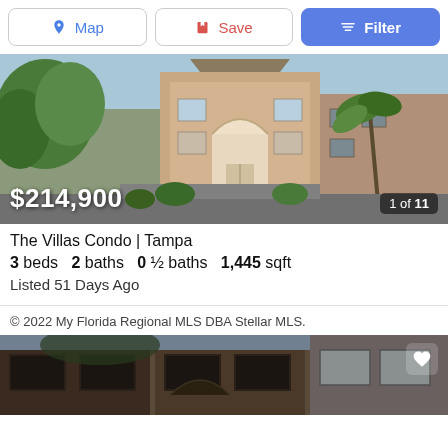[Figure (screenshot): Top navigation bar with Map, Save, and Filter buttons]
[Figure (photo): Exterior photo of a beige/tan multi-story condo building with arched entrance, palm trees and other vegetation. Price overlay shows $214,900 and photo counter shows 1 of 11.]
The Villas Condo | Tampa
3 beds  2 baths  0 ½ baths  1,445 sqft
Listed 51 Days Ago
© 2022 My Florida Regional MLS DBA Stellar MLS.
[Figure (photo): Partial exterior photo of a darker brick building with dark-framed windows and arched architectural element, partially visible at bottom of page. A heart/favorite button is visible in the top right corner.]